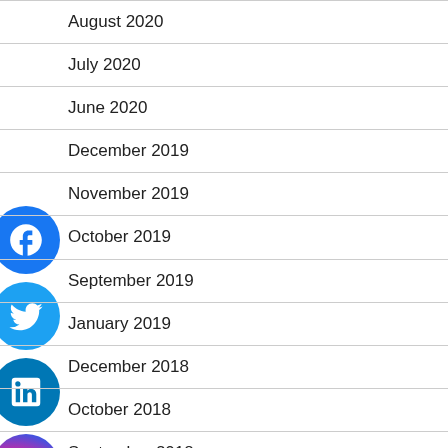August 2020
July 2020
June 2020
December 2019
November 2019
October 2019
September 2019
January 2019
December 2018
October 2018
September 2018